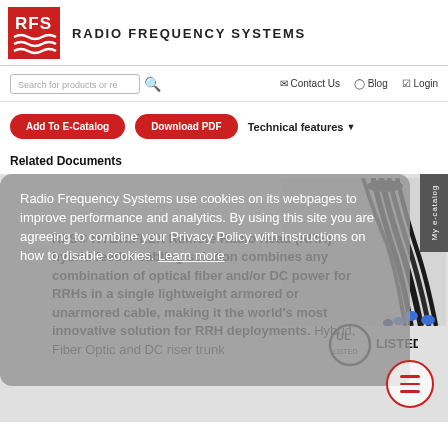[Figure (logo): RFS Radio Frequency Systems logo — red square with white RFS letters and red wavy lines below, followed by bold text RADIO FREQUENCY SYSTEMS]
RADIO FREQUENCY SYSTEMS
Search for products or re...  Contact Us  Blog  Login
Add To E-Catalog   Download PDF   Technical features ▼
Related Documents
Radio Frequency Systems use cookies on its webpages to improve performance and analytics. By using this site you are agreeing to combine your Privacy Policy with instructions on how to disable cookies. Learn more
RFS® HYBRIFLEX Remote Radio Head (RRH) hybrid feeder cabling solution combines any combination of optical fiber and/or DC power for RRHs in a single lightweight armored or unarmored cable, making it the world's most innovative solution for RRH deployments. Hybrid, Fiber Optic and DC riser trunk
[Figure (photo): Photo of RFS HYBRIFLEX hybrid feeder cable bundle with multiple black cables and blue fiber connectors]
[Figure (logo): UL LISTED certification badge — circular UL logo with LISTED text to the right]